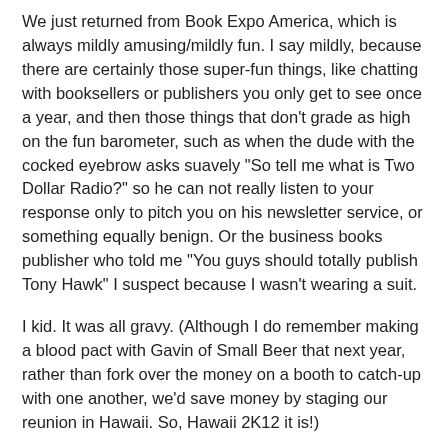We just returned from Book Expo America, which is always mildly amusing/mildly fun. I say mildly, because there are certainly those super-fun things, like chatting with booksellers or publishers you only get to see once a year, and then those things that don't grade as high on the fun barometer, such as when the dude with the cocked eyebrow asks suavely "So tell me what is Two Dollar Radio?" so he can not really listen to your response only to pitch you on his newsletter service, or something equally benign. Or the business books publisher who told me "You guys should totally publish Tony Hawk" I suspect because I wasn't wearing a suit.
I kid. It was all gravy. (Although I do remember making a blood pact with Gavin of Small Beer that next year, rather than fork over the money on a booth to catch-up with one another, we'd save money by staging our reunion in Hawaii. So, Hawaii 2K12 it is!)